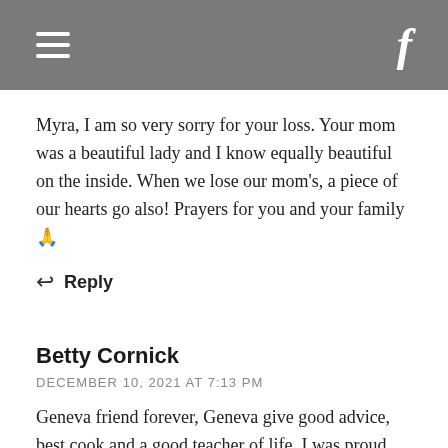[Navigation bar with hamburger menu and Facebook icon]
Myra, I am so very sorry for your loss. Your mom was a beautiful lady and I know equally beautiful on the inside. When we lose our mom's, a piece of our hearts go also! Prayers for you and your family 🙏
↩ Reply
Betty Cornick
DECEMBER 10, 2021 AT 7:13 PM
Geneva friend forever, Geneva give good advice, best cook and a good teacher of life. I was proud